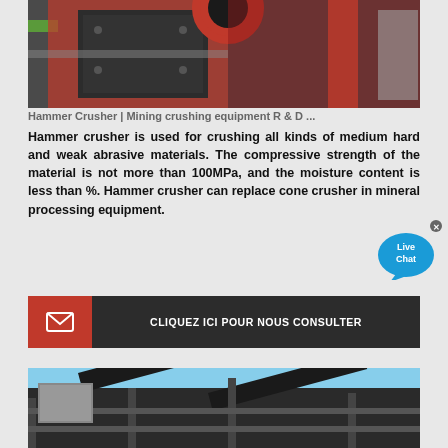[Figure (photo): Hammer crusher / mining crushing equipment machinery photo showing red and grey metal crushing machine parts]
Hammer Crusher | Mining crushing equipment R & D ...
Hammer crusher is used for crushing all kinds of medium hard and weak abrasive materials. The compressive strength of the material is not more than 100MPa, and the moisture content is less than %. Hammer crusher can replace cone crusher in mineral processing equipment.
CLIQUEZ ICI POUR NOUS CONSULTER
[Figure (photo): Industrial conveyor belt / mining processing equipment structure with metal framework against blue sky]